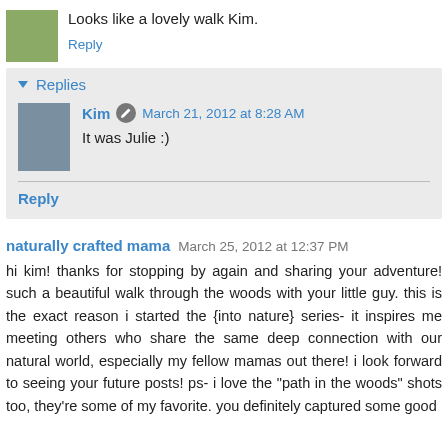Looks like a lovely walk Kim.
Reply
▼ Replies
Kim  March 21, 2012 at 8:28 AM
It was Julie :)
Reply
naturally crafted mama  March 25, 2012 at 12:37 PM
hi kim! thanks for stopping by again and sharing your adventure! such a beautiful walk through the woods with your little guy. this is the exact reason i started the {into nature} series- it inspires me meeting others who share the same deep connection with our natural world, especially my fellow mamas out there! i look forward to seeing your future posts! ps- i love the "path in the woods" shots too, they're some of my favorite. you definitely captured some good